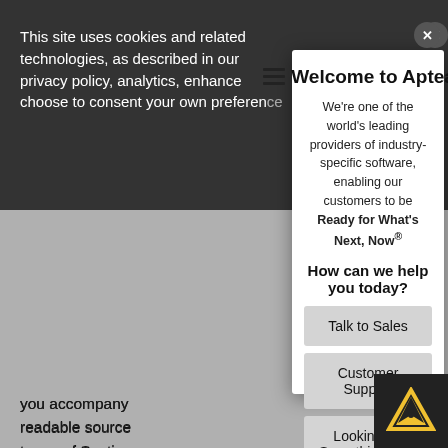This site uses cookies and related technologies, as described in our privacy policy, analytics, enhance choose to consent your own preference
you accompany readable source terms of Sections used for software
If distribution of c copy from a desi to copy the sour requirement to d parties are not compelled to copy the source along with the object code.
5. A program that contains no derivative of any portion of the
[Figure (screenshot): Modal dialog popup on the Aptean website with hamburger icon, title 'Welcome to Aptean!', description text, 'How can we help you today?' heading, and three buttons: Talk to Sales, Customer Support, Looking for Something Else]
Welcome to Aptean!
We're one of the world's leading providers of industry-specific software, enabling our customers to be Ready for What's Next, Now®
How can we help you today?
Talk to Sales
Customer Support
Looking for Something Else